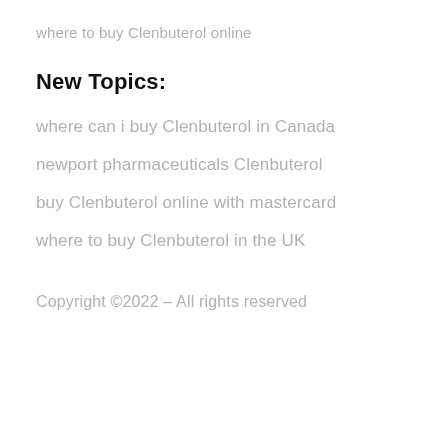where to buy Clenbuterol online
New Topics:
where can i buy Clenbuterol in Canada
newport pharmaceuticals Clenbuterol
buy Clenbuterol online with mastercard
where to buy Clenbuterol in the UK
Copyright ©2022 – All rights reserved